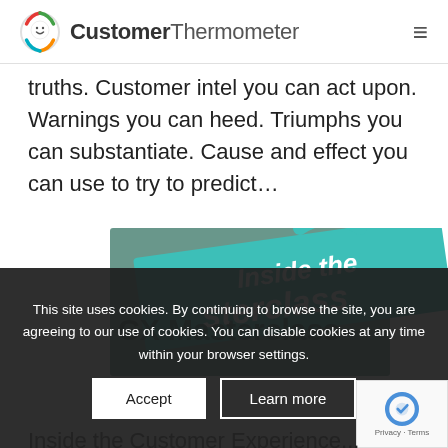CustomerThermometer
truths. Customer intel you can act upon. Warnings you can heed. Triumphs you can substantiate. Cause and effect you can use to try to predict…
[Figure (photo): Book cover image showing 'Inside the CX Masterclass' with teal/green design]
This site uses cookies. By continuing to browse the site, you are agreeing to our use of cookies. You can disable cookies at any time within your browser settings.
Inside the Customer Experience...